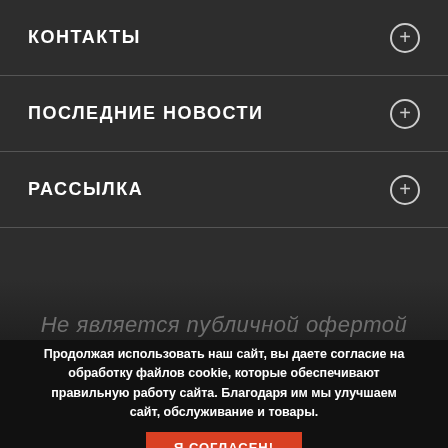КОНТАКТЫ
ПОСЛЕДНИЕ НОВОСТИ
РАССЫЛКА
Не является публичной офертой
Продолжая использовать наш сайт, вы даете согласие на обработку файлов cookie, которые обеспечивают правильную работу сайта. Благодаря им мы улучшаем сайт, обслуживание и товары.
Я СОГЛАСЕН!